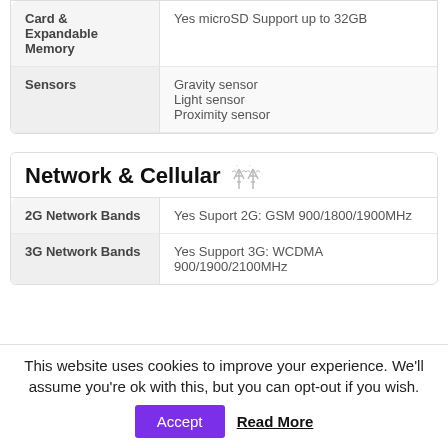| Feature | Value |
| --- | --- |
| Card & Expandable Memory | Yes microSD Support up to 32GB |
| Sensors | Gravity sensor
Light sensor
Proximity sensor |
Network & Cellular 📡
| Feature | Value |
| --- | --- |
| 2G Network Bands | Yes Suport 2G: GSM 900/1800/1900MHz |
| 3G Network Bands | Yes Support 3G: WCDMA 900/1900/2100MHz |
This website uses cookies to improve your experience. We'll assume you're ok with this, but you can opt-out if you wish.